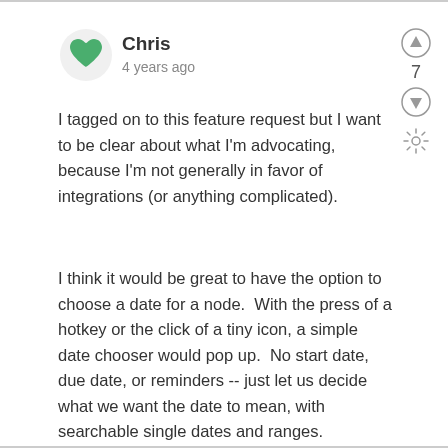[Figure (illustration): Green heart avatar icon for user Chris]
Chris
4 years ago
[Figure (infographic): Vote up button (circle with up arrow), vote count 7, vote down button (circle with down arrow), gear/settings icon]
I tagged on to this feature request but I want to be clear about what I'm advocating, because I'm not generally in favor of integrations (or anything complicated).
I think it would be great to have the option to choose a date for a node.  With the press of a hotkey or the click of a tiny icon, a simple date chooser would pop up.  No start date, due date, or reminders -- just let us decide what we want the date to mean, with searchable single dates and ranges.